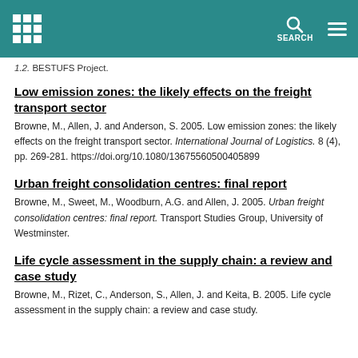SEARCH
1.2. BESTUFS Project.
Low emission zones: the likely effects on the freight transport sector
Browne, M., Allen, J. and Anderson, S. 2005. Low emission zones: the likely effects on the freight transport sector. International Journal of Logistics. 8 (4), pp. 269-281. https://doi.org/10.1080/13675560500405899
Urban freight consolidation centres: final report
Browne, M., Sweet, M., Woodburn, A.G. and Allen, J. 2005. Urban freight consolidation centres: final report. Transport Studies Group, University of Westminster.
Life cycle assessment in the supply chain: a review and case study
Browne, M., Rizet, C., Anderson, S., Allen, J. and Keita, B. 2005. Life cycle assessment in the supply chain: a review and case study.